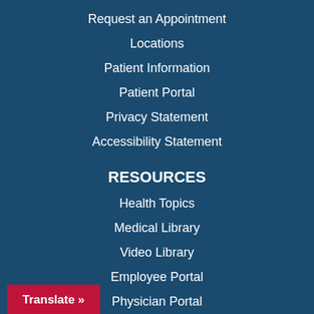Request an Appointment
Locations
Patient Information
Patient Portal
Privacy Statement
Accessibility Statement
RESOURCES
Health Topics
Medical Library
Video Library
Employee Portal
Physician Portal
Translate »